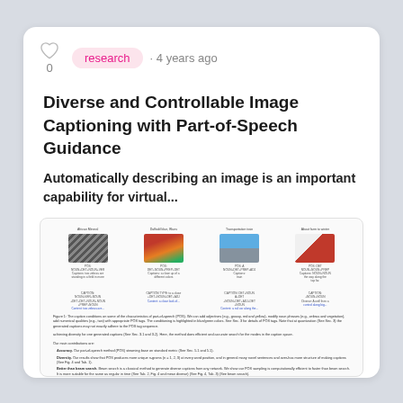research · 4 years ago
Diverse and Controllable Image Captioning with Part-of-Speech Guidance
Automatically describing an image is an important capability for virtual...
[Figure (screenshot): Embedded paper preview showing figures of zebras, food, train, cow with captions and body text including figure caption, bullet points about Accuracy, Diversity, Better than beam search, Control.]